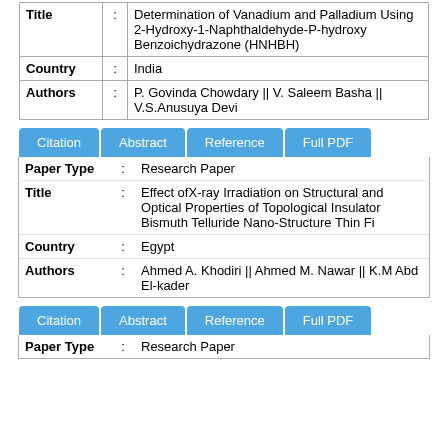| Title | : | Determination of Vanadium and Palladium Using 2-Hydroxy-1-Naphthaldehyde-P-hydroxy Benzoichydrazone (HNHBH) |
| Country | : | India |
| Authors | : | P. Govinda Chowdary || V. Saleem Basha || V.S.Anusuya Devi |
| Citation | Abstract | Reference | Full PDF |
| --- | --- | --- | --- |
| Paper Type | : | Research Paper |
| Title | : | Effect ofX-ray Irradiation on Structural and Optical Properties of Topological Insulator Bismuth Telluride Nano-Structure Thin Fi |
| Country | : | Egypt |
| Authors | : | Ahmed A. Khodiri || Ahmed M. Nawar || K.M Abd El-kader |
| Citation | Abstract | Reference | Full PDF |
| --- | --- | --- | --- |
| Paper Type | : | Research Paper |